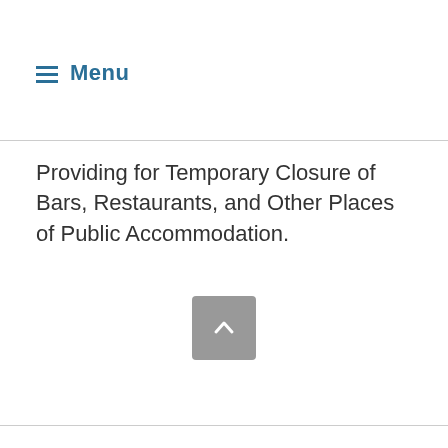Menu
Providing for Temporary Closure of Bars, Restaurants, and Other Places of Public Accommodation.
[Figure (other): Scroll-to-top button: a grey rounded square with an upward-pointing chevron arrow icon.]